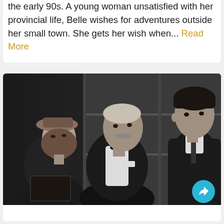the early 90s. A young woman unsatisfied with her provincial life, Belle wishes for adventures outside her small town. She gets her wish when... Read More
[Figure (photo): Black and white still from a classic film showing three people: a young woman in a hat on the left, an older gentleman with a mustache in the center wearing a tuxedo, and a tall young man on the right in a dark suit. They appear to be in an indoor setting with glass cabinets in the background.]